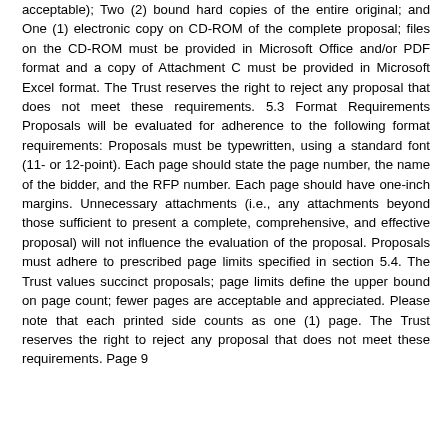acceptable); Two (2) bound hard copies of the entire original; and One (1) electronic copy on CD-ROM of the complete proposal; files on the CD-ROM must be provided in Microsoft Office and/or PDF format and a copy of Attachment C must be provided in Microsoft Excel format. The Trust reserves the right to reject any proposal that does not meet these requirements. 5.3 Format Requirements Proposals will be evaluated for adherence to the following format requirements: Proposals must be typewritten, using a standard font (11- or 12-point). Each page should state the page number, the name of the bidder, and the RFP number. Each page should have one-inch margins. Unnecessary attachments (i.e., any attachments beyond those sufficient to present a complete, comprehensive, and effective proposal) will not influence the evaluation of the proposal. Proposals must adhere to prescribed page limits specified in section 5.4. The Trust values succinct proposals; page limits define the upper bound on page count; fewer pages are acceptable and appreciated. Please note that each printed side counts as one (1) page. The Trust reserves the right to reject any proposal that does not meet these requirements. Page 9